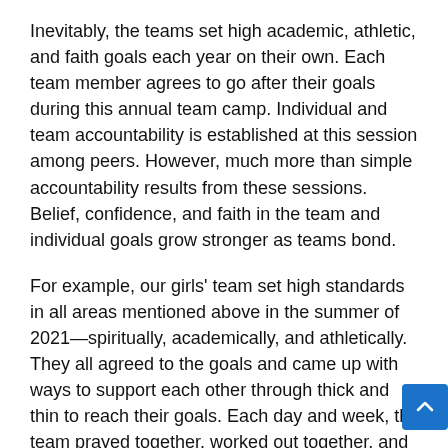Inevitably, the teams set high academic, athletic, and faith goals each year on their own. Each team member agrees to go after their goals during this annual team camp. Individual and team accountability is established at this session among peers. However, much more than simple accountability results from these sessions. Belief, confidence, and faith in the team and individual goals grow stronger as teams bond.
For example, our girls' team set high standards in all areas mentioned above in the summer of 2021—spiritually, academically, and athletically. They all agreed to the goals and came up with ways to support each other through thick and thin to reach their goals. Each day and week, the team prayed together, worked out together, and encouraged each other verbally and with specially written encouragement notes or small "secret sister" gifts at times.